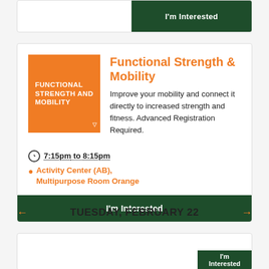I'm Interested
Functional Strength & Mobility
[Figure (illustration): Orange square logo with white text reading FUNCTIONAL STRENGTH AND MOBILITY]
Improve your mobility and connect it directly to increased strength and fitness. Advanced Registration Required.
7:15pm to 8:15pm
Activity Center (AB), Multipurpose Room Orange
I'm Interested
TUESDAY, FEBRUARY 22
I'm Interested